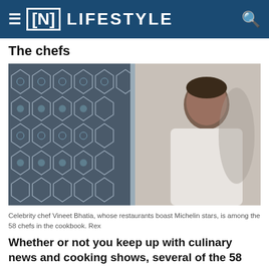[N] LIFESTYLE
The chefs
[Figure (photo): Celebrity chef Vineet Bhatia standing with arms crossed, wearing white chef's attire, in front of ornate blue and white Islamic geometric tile work.]
Celebrity chef Vineet Bhatia, whose restaurants boast Michelin stars, is among the 58 chefs in the cookbook. Rex
Whether or not you keep up with culinary news and cooking shows, several of the 58 names